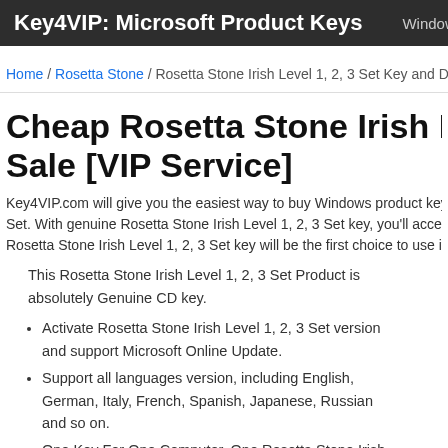Key4VIP: Microsoft Product Keys   Windows 11   Wind...
Home / Rosetta Stone / Rosetta Stone Irish Level 1, 2, 3 Set Key and Down...
Cheap Rosetta Stone Irish Level... Sale [VIP Service]
Key4VIP.com will give you the easiest way to buy Windows product keys onli... Set. With genuine Rosetta Stone Irish Level 1, 2, 3 Set key, you'll access the R... Rosetta Stone Irish Level 1, 2, 3 Set key will be the first choice to use it at the
This Rosetta Stone Irish Level 1, 2, 3 Set Product is absolutely Genuine CD key.
Activate Rosetta Stone Irish Level 1, 2, 3 Set version and support Microsoft Online Update.
Support all languages version, including English, German, Italy, French, Spanish, Japanese, Russian and so on.
One Key For One Computer. One Rosetta Stone Irish Level 1, 2, 3 Set product key works permanently on one computer. Forever useful to reinstall the Operation System or Application Software.